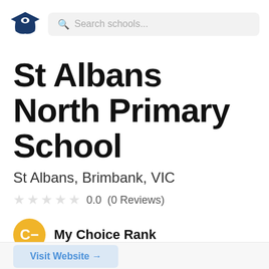Search schools...
St Albans North Primary School
St Albans, Brimbank, VIC
0.0  (0 Reviews)
My Choice Rank
Visit Website →